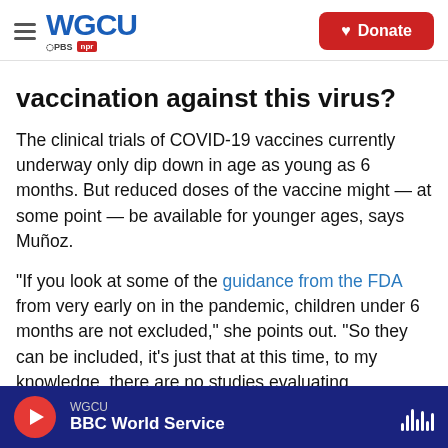WGCU PBS NPR | Donate
vaccination against this virus?
The clinical trials of COVID-19 vaccines currently underway only dip down in age as young as 6 months. But reduced doses of the vaccine might — at some point — be available for younger ages, says Muñoz.
"If you look at some of the guidance from the FDA from very early on in the pandemic, children under 6 months are not excluded," she points out. "So they can be included, it's just that at this time, to my knowledge, there are no studies evaluating
WGCU BBC World Service